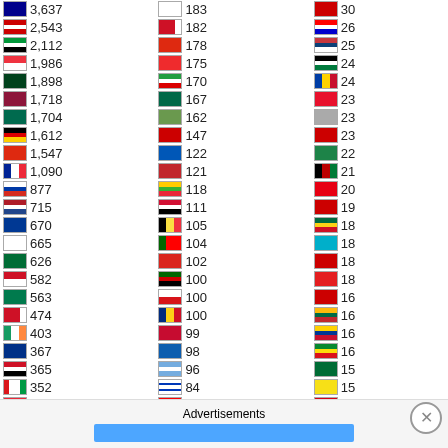| Flag | Count | Flag | Count | Flag | Count |
| --- | --- | --- | --- | --- | --- |
| 🇦🇺 | 3,637 | 🇰🇷 | 183 | 🇹🇷 | 30 |
| 🇲🇾 | 2,543 | 🇧🇭 | 182 | 🇭🇷 | 26 |
| 🇦🇪 | 2,112 | 🇭🇰 | 178 | 🇷🇸 | 25 |
| 🇸🇬 | 1,986 | 🇳🇴 | 175 | 🇵🇸 | 24 |
| 🇵🇰 | 1,898 | 🇮🇷 | 170 | 🇲🇩 | 24 |
| 🇱🇰 | 1,718 | 🇲🇽 | 167 | 🇰🇬 | 23 |
| 🇧🇩 | 1,704 | 🇹🇲 | 162 | 🇹🇲 | 23 |
| 🇩🇪 | 1,612 | 🇲🇦 | 147 | 🇵🇷 | 23 |
| 🇨🇳 | 1,547 | 🇺🇦 | 122 | 🇺🇿 | 22 |
| 🇫🇷 | 1,090 | 🇲🇦 | 121 | 🇦🇫 | 21 |
| 🇷🇺 | 877 | 🇲🇲 | 118 | 🇹🇳 | 20 |
| 🇳🇱 | 715 | 🇸🇩 | 111 | 🇬🇭 | 19 |
| 🇳🇵 | 670 | 🇧🇪 | 105 | 🇬🇭 | 18 |
| 🇯🇵 | 665 | 🇵🇹 | 104 | 🇰🇿 | 18 |
| 🇸🇦 | 626 | 🇻🇳 | 102 | 🇧🇾 | 18 |
| 🇮🇩 | 582 | 🇰🇪 | 100 | 🇦🇱 | 18 |
| 🇿🇦 | 563 | 🇨🇿 | 100 | 🇱🇻 | 16 |
| 🇧🇭 | 474 | 🇷🇴 | 100 | 🇱🇹 | 16 |
| 🇮🇪 | 403 | 🇩🇰 | 99 | 🇪🇨 | 16 |
| 🇦🇺 | 367 | 🇬🇷 | 98 | 🇪🇹 | 16 |
| 🇪🇬 | 365 | 🇦🇷 | 96 | 🇧🇷 | 15 |
| 🇴🇲 | 352 | 🇮🇱 | 84 | 🇧🇳 | 15 |
| 🇦🇹 | 326 | 🇹🇼 | 70 | 🇦🇲 | 14 |
| 🇮🇹 | 308 | 🇩🇿 | 63 | 🇮🇳 | 14 |
Advertisements